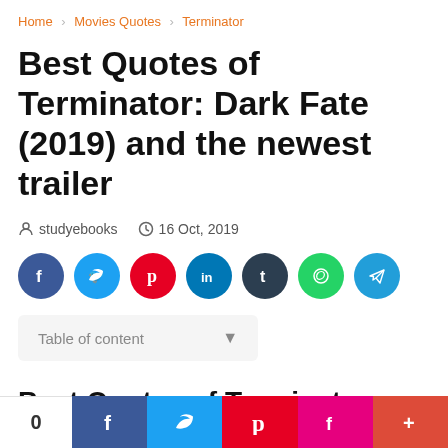Home > Movies Quotes > Terminator
Best Quotes of Terminator: Dark Fate (2019) and the newest trailer
studyebooks   16 Oct, 2019
[Figure (infographic): Social share buttons: Facebook (blue), Twitter (light blue), Pinterest (red), LinkedIn (dark blue), Tumblr (dark navy), WhatsApp (green), Telegram (light blue)]
Table of content
Best Quotes of Terminator:
[Figure (infographic): Bottom social share bar with count 0, Facebook (blue), Twitter (light blue), Pinterest (red), Flipboard (pink/red), and more (+) in red-orange]